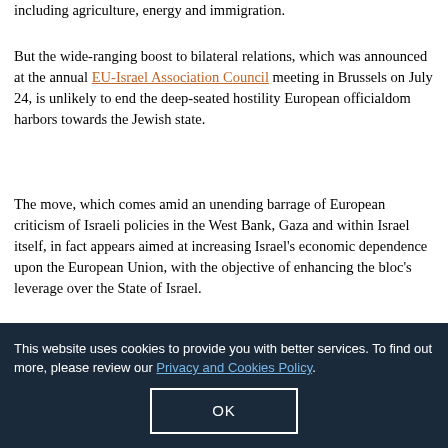including agriculture, energy and immigration.
But the wide-ranging boost to bilateral relations, which was announced at the annual EU-Israel Association Council meeting in Brussels on July 24, is unlikely to end the deep-seated hostility European officialdom harbors towards the Jewish state.
The move, which comes amid an unending barrage of European criticism of Israeli policies in the West Bank, Gaza and within Israel itself, in fact appears aimed at increasing Israel's economic dependence upon the European Union, with the objective of enhancing the bloc's leverage over the State of Israel.
As a whole, the package stops short of the full upgrade in relations that were canceled after Israel's invasion of the Gaza Strip in January 2009, but is highly significant nonetheless.
Among other measures, the European Union will remove
This website uses cookies to provide you with better services. To find out more, please review our Privacy and Cookies Policy.